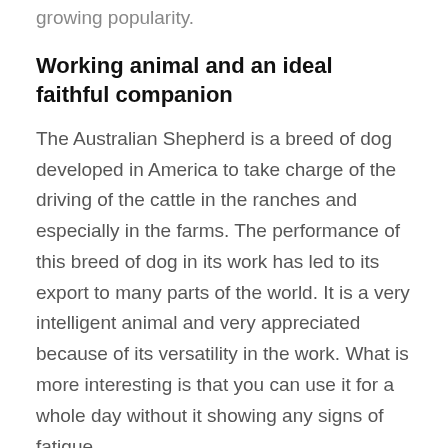growing popularity.
Working animal and an ideal faithful companion
The Australian Shepherd is a breed of dog developed in America to take charge of the driving of the cattle in the ranches and especially in the farms. The performance of this breed of dog in its work has led to its export to many parts of the world. It is a very intelligent animal and very appreciated because of its versatility in the work. What is more interesting is that you can use it for a whole day without it showing any signs of fatigue.
On the other hand, its dedication to work, its intelligence and its vigor make it an ideal faithful companion. His ease of adaptation to the different situations that present themselves to him makes that he is present everywhere. It is also that which facilitates its education. However, he is very sticky